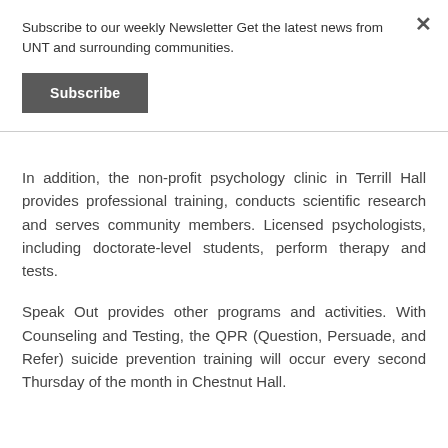Subscribe to our weekly Newsletter Get the latest news from UNT and surrounding communities.
Subscribe
In addition, the non-profit psychology clinic in Terrill Hall provides professional training, conducts scientific research and serves community members. Licensed psychologists, including doctorate-level students, perform therapy and tests.
Speak Out provides other programs and activities. With Counseling and Testing, the QPR (Question, Persuade, and Refer) suicide prevention training will occur every second Thursday of the month in Chestnut Hall.